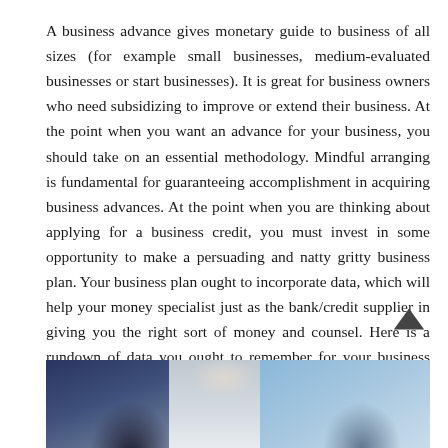A business advance gives monetary guide to business of all sizes (for example small businesses, medium-evaluated businesses or start businesses). It is great for business owners who need subsidizing to improve or extend their business. At the point when you want an advance for your business, you should take on an essential methodology. Mindful arranging is fundamental for guaranteeing accomplishment in acquiring business advances. At the point when you are thinking about applying for a business credit, you must invest in some opportunity to make a persuading and natty gritty business plan. Your business plan ought to incorporate data, which will help your money specialist just as the bank/credit supplier in giving you the right sort of money and counsel. Here is a rundown of data you ought to remember for your business plan:
[Figure (photo): Three partially visible photos of business people at the bottom of the page, cropped to show only the upper body and lower half areas.]